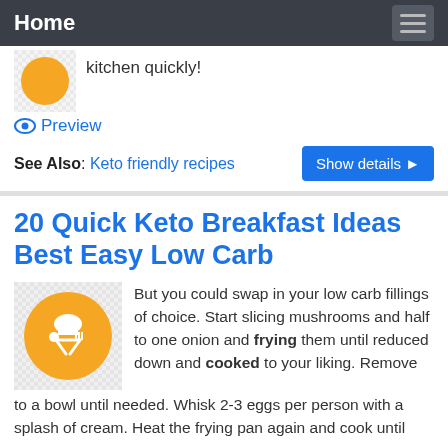Home
kitchen quickly!
Preview
See Also: Keto friendly recipes
Show details
20 Quick Keto Breakfast Ideas Best Easy Low Carb
But you could swap in your low carb fillings of choice. Start slicing mushrooms and half to one onion and frying them until reduced down and cooked to your liking. Remove to a bowl until needed. Whisk 2-3 eggs per person with a splash of cream. Heat the frying pan again and cook until